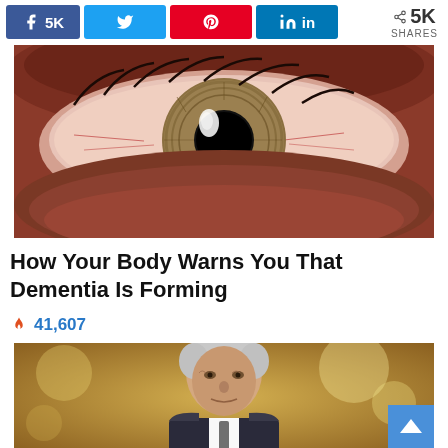Social share bar: Facebook 5K, Twitter, Pinterest, LinkedIn, 5K SHARES
[Figure (photo): Extreme macro close-up of a human eye with hazel/green iris and slightly bloodshot sclera]
How Your Body Warns You That Dementia Is Forming
41,607
[Figure (photo): Partial photo of an elderly man with grey hair in a formal setting with bokeh background lighting]